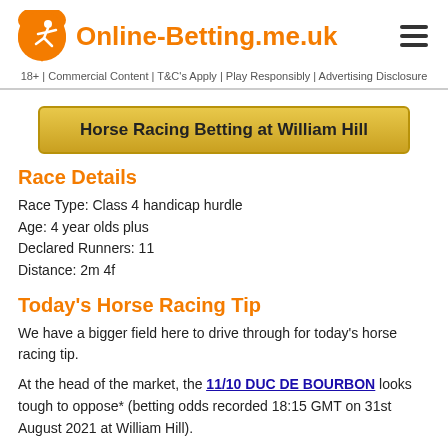Online-Betting.me.uk
18+ | Commercial Content | T&C's Apply | Play Responsibly | Advertising Disclosure
Horse Racing Betting at William Hill
Race Details
Race Type: Class 4 handicap hurdle
Age: 4 year olds plus
Declared Runners: 11
Distance: 2m 4f
Today's Horse Racing Tip
We have a bigger field here to drive through for today's horse racing tip.

At the head of the market, the 11/10 DUC DE BOURBON looks tough to oppose* (betting odds recorded 18:15 GMT on 31st August 2021 at William Hill).